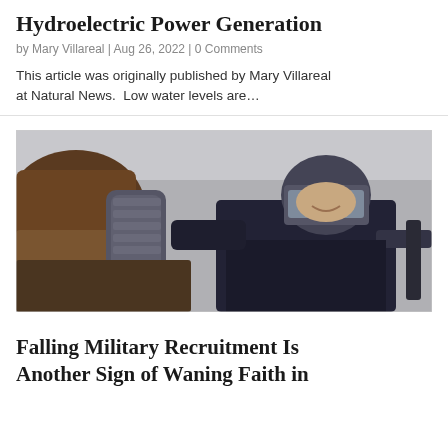Hydroelectric Power Generation
by Mary Villareal | Aug 26, 2022 | 0 Comments
This article was originally published by Mary Villareal at Natural News.  Low water levels are…
[Figure (photo): A riot police officer in full gear including helmet with face shield and body armor, holding a baton, appearing to be in an active confrontation. The image is taken from a low angle with an out-of-focus shoe or boot in the foreground.]
Falling Military Recruitment Is Another Sign of Waning Faith in